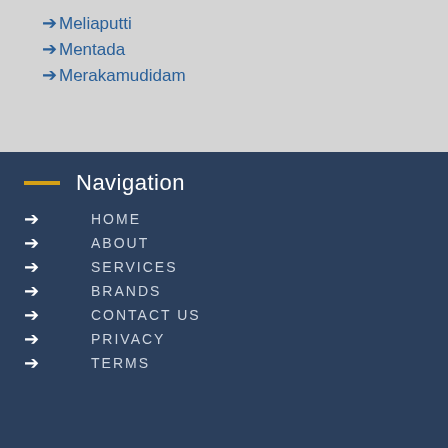➔ Meliaputti
➔ Mentada
➔ Merakamudidam
Navigation
➔ HOME
➔ ABOUT
➔ SERVICES
➔ BRANDS
➔ CONTACT US
➔ PRIVACY
➔ TERMS